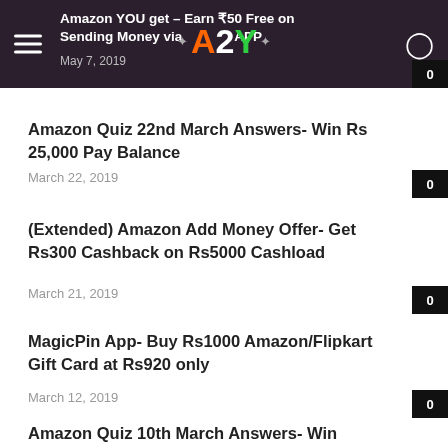Amazon YOU get – Earn ₹50 Free on Sending Money via APP · May 7, 2019
Amazon Quiz 22nd March Answers- Win Rs 25,000 Pay Balance
March 22, 2019
(Extended) Amazon Add Money Offer- Get Rs300 Cashback on Rs5000 Cashload
March 21, 2019
MagicPin App- Buy Rs1000 Amazon/Flipkart Gift Card at Rs920 only
March 12, 2019
Amazon Quiz 10th March Answers- Win Samsung Galaxy S10 Plus
March 10, 2019